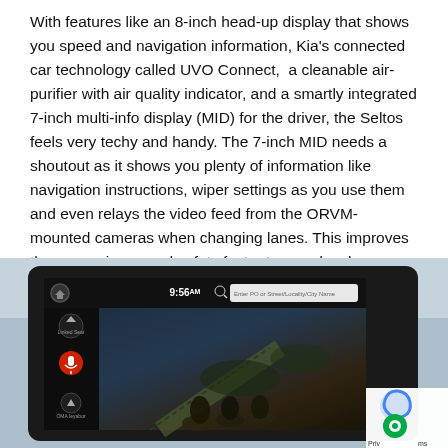With features like an 8-inch head-up display that shows you speed and navigation information, Kia's connected car technology called UVO Connect, a cleanable air-purifier with air quality indicator, and a smartly integrated 7-inch multi-info display (MID) for the driver, the Seltos feels very techy and handy. The 7-inch MID needs a shoutout as it shows you plenty of information like navigation instructions, wiper settings as you use them and even relays the video feed from the ORVM-mounted cameras when changing lanes. This improves the convenience and safety factor tremendously.
[Figure (photo): Photo of a Kia Seltos infotainment/navigation screen showing the UVO Connect interface with map display, clock showing 9:56, a search bar reading 'Enter PO or Street/Locality/City Name', and left-side menu buttons. A privacy/cookie consent overlay icon is visible in the bottom-right corner.]